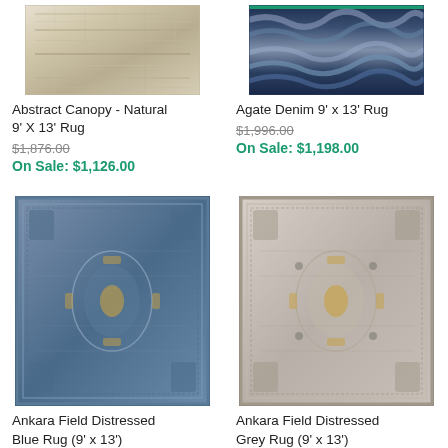[Figure (photo): Abstract Canopy Natural rug in beige/cream tones, cropped view from top]
Abstract Canopy - Natural 9' X 13' Rug
$1,876.00
On Sale: $1,126.00
[Figure (photo): Agate Denim rug with dark blue wavy pattern, cropped view from top]
Agate Denim 9' x 13' Rug
$1,996.00
On Sale: $1,198.00
[Figure (photo): Ankara Field Distressed Blue Rug 9x13, traditional Persian-style pattern in blue/grey with gold accents]
Ankara Field Distressed Blue Rug (9' x 13')
$1,876.00
[Figure (photo): Ankara Field Distressed Grey Rug 9x13, traditional Persian-style pattern in grey/cream with gold accents]
Ankara Field Distressed Grey Rug (9' x 13')
$1,876.00